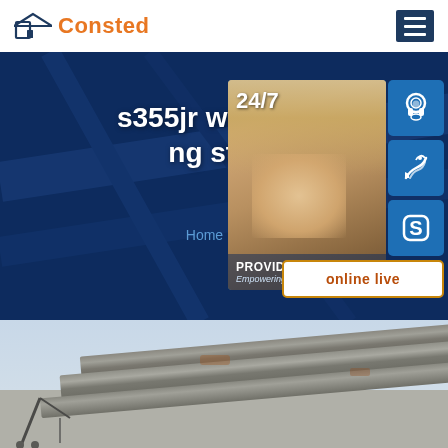Consted
s355jr welded building structure
Home » AH36 steel
[Figure (screenshot): Website hero banner with dark blue background showing '24/7' customer service panel with a woman wearing a headset, icon buttons for headset, phone, and Skype, and an 'online live' button]
[Figure (photo): Steel beams or metal structural materials photographed from below against a sky background]